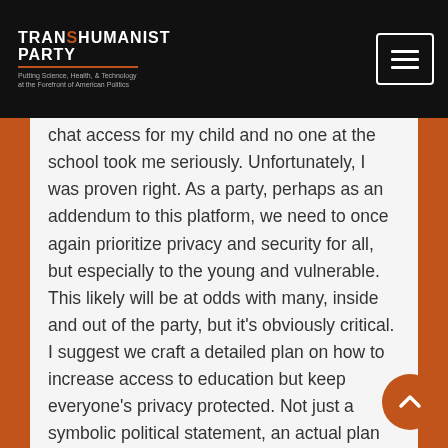Transhumanist Party — Putting Science, Health, & Technology at the Forefront of American Politics
chat access for my child and no one at the school took me seriously. Unfortunately, I was proven right. As a party, perhaps as an addendum to this platform, we need to once again prioritize privacy and security for all, but especially to the young and vulnerable. This likely will be at odds with many, inside and out of the party, but it's obviously critical. I suggest we craft a detailed plan on how to increase access to education but keep everyone's privacy protected. Not just a symbolic political statement, an actual plan that can be pitched to companies/governments and enacted. We have enough tech savvy people to create